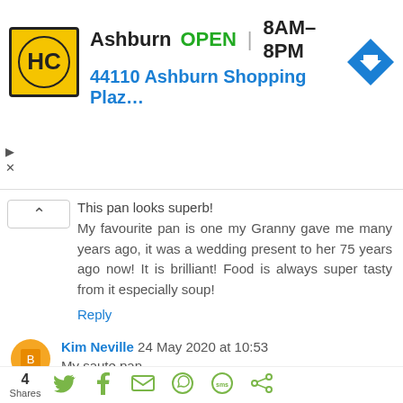[Figure (infographic): Advertisement banner for HC (Home Choice or similar) store in Ashburn showing logo, OPEN status, hours 8AM-8PM, address 44110 Ashburn Shopping Plaz..., and a blue navigation arrow icon]
This pan looks superb!
My favourite pan is one my Granny gave me many years ago, it was a wedding present to her 75 years ago now! It is brilliant! Food is always super tasty from it especially soup!
Reply
Kim Neville 24 May 2020 at 10:53
My saute pan
Reply
Rachelel 24 May 2020 at 11:04
4 Shares